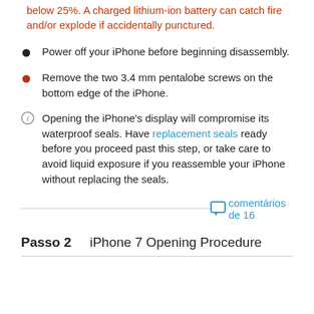below 25%. A charged lithium-ion battery can catch fire and/or explode if accidentally punctured.
Power off your iPhone before beginning disassembly.
Remove the two 3.4 mm pentalobe screws on the bottom edge of the iPhone.
Opening the iPhone's display will compromise its waterproof seals. Have replacement seals ready before you proceed past this step, or take care to avoid liquid exposure if you reassemble your iPhone without replacing the seals.
comentários de 16
Passo 2    iPhone 7 Opening Procedure